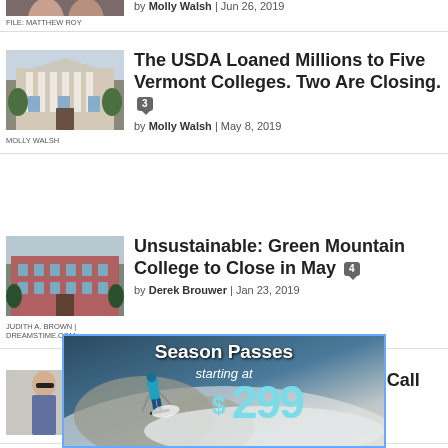[Figure (photo): Partial photo at top, showing two people]
FILE: MATTHEW ROY
by Molly Walsh | Jun 26, 2019
[Figure (photo): Photo of a large brick building with white columns]
MOLLY WALSH
The USDA Loaned Millions to Five Vermont Colleges. Two Are Closing. 3
by Molly Walsh | May 8, 2019
[Figure (photo): Photo of a large brick building]
JUDITH A. BROWN | DREAMSTIME.COM
Unsustainable: Green Mountain College to Close in May 4
by Derek Brouwer | Jan 23, 2019
[Figure (photo): Photo of two men in suits, one wearing sunglasses]
Judge Boots UVM Telephone Call Case 4
[Figure (infographic): Advertisement: Season Passes starting at $299, showing a skier on a snowy slope]